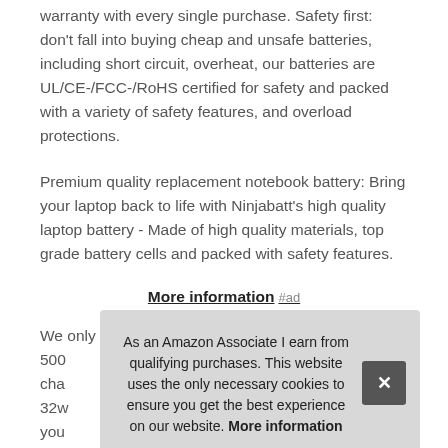warranty with every single purchase. Safety first: don't fall into buying cheap and unsafe batteries, including short circuit, overheat, our batteries are UL/CE-/FCC-/RoHS certified for safety and packed with a variety of safety features, and overload protections.
Premium quality replacement notebook battery: Bring your laptop back to life with Ninjabatt's high quality laptop battery - Made of high quality materials, top grade battery cells and packed with safety features.
More information #ad
We only use grade A battery cells that provide up to 500 cha... 32w... you... mod... 002...
As an Amazon Associate I earn from qualifying purchases. This website uses the only necessary cookies to ensure you get the best experience on our website. More information